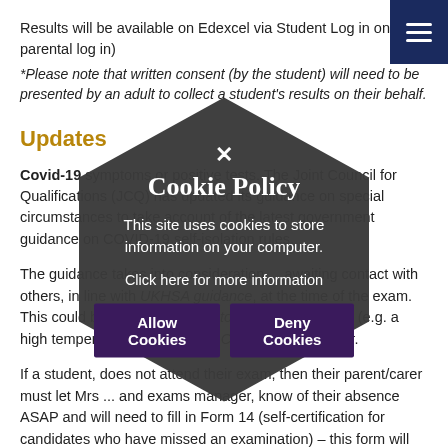Results will be available on Edexcel via Student Log in only (no parental log in)
*Please note that written consent (by the student) will need to be presented by an adult to collect a student's results on their behalf.
Updates
Covid-19 symptoms or positive tests. The Joint Council for Qualifications (JCQ) has updated its guidance on special circumstances to take account of the latest government guidance on COVID-19 self-isolation rules.
The guidance takes into consideration ... awaiting contact with others, in line with UKHSA guidance, at the time of the exam. This could be because of symptoms in the guidance (e.g. a high temperature) or a positive COVID-19 test result.
If a student, does not attend their exam, then their parent/carer must let Mrs ... and exams manager, know of their absence ASAP and will need to fill in Form 14 (self-certification for candidates who have missed an examination) – this form will
[Figure (other): Cookie Policy overlay dialog with hexagonal dark background. Contains title 'Cookie Policy', body text 'This site uses cookies to store information on your computer.', link 'Click here for more information', and two buttons: 'Allow Cookies' and 'Deny Cookies'. An X close button is visible at the top.]